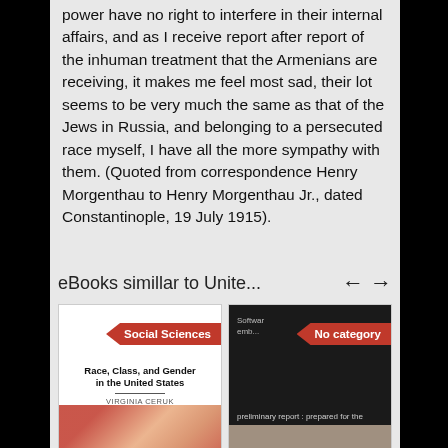power have no right to interfere in their internal affairs, and as I receive report after report of the inhuman treatment that the Armenians are receiving, it makes me feel most sad, their lot seems to be very much the same as that of the Jews in Russia, and belonging to a persecuted race myself, I have all the more sympathy with them. (Quoted from correspondence Henry Morgenthau to Henry Morgenthau Jr., dated Constantinople, 19 July 1915).
eBooks simillar to Unite...
[Figure (illustration): Book cover for 'Race, Class, and Gender in the United States' by Virginia Ceruk, with Social Sciences badge]
[Figure (illustration): Book cover with 'No category' badge, text reads: Software emb... preliminary report : prepared for the United States Air Force ([Report] - The Rand Corporation ; R-2567-AF)]